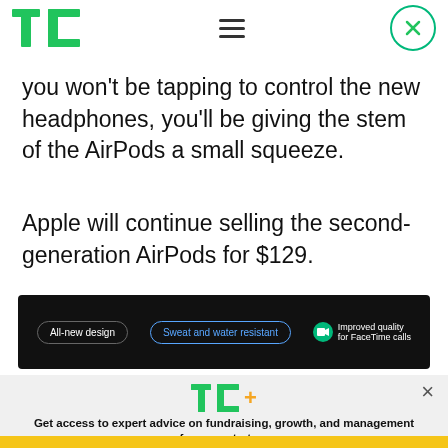TechCrunch navigation header
you won't be tapping to control the new headphones, you'll be giving the stem of the AirPods a small squeeze.
Apple will continue selling the second-generation AirPods for $129.
[Figure (infographic): Dark banner with three feature pills: 'All-new design', 'Sweat and water resistant', 'Improved quality for FaceTime calls']
[Figure (infographic): TechCrunch+ promotional overlay on gray background with TC+ logo, tagline 'Get access to expert advice on fundraising, growth, and management for your startup.' and yellow 'EXPLORE NOW' button]